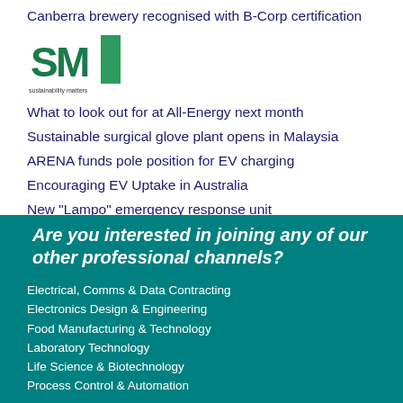Canberra brewery recognised with B-Corp certification
[Figure (logo): Sustainability Matters logo — green SM letters with green square, text 'sustainability matters' below]
What to look out for at All-Energy next month
Sustainable surgical glove plant opens in Malaysia
ARENA funds pole position for EV charging
Encouraging EV Uptake in Australia
New "Lampo" emergency response unit
Are you interested in joining any of our other professional channels?
Electrical, Comms & Data Contracting
Electronics Design & Engineering
Food Manufacturing & Technology
Laboratory Technology
Life Science & Biotechnology
Process Control & Automation